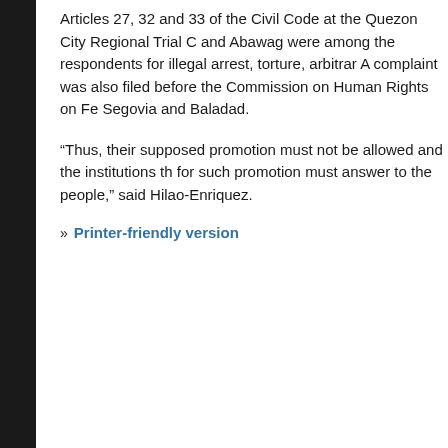Articles 27, 32 and 33 of the Civil Code at the Quezon City Regional Trial C and Abawag were among the respondents for illegal arrest, torture, arbitrar A complaint was also filed before the Commission on Human Rights on Fe Segovia and Baladad.
“Thus, their supposed promotion must not be allowed and the institutions th for such promotion must answer to the people,” said Hilao-Enriquez.
» Printer-friendly version